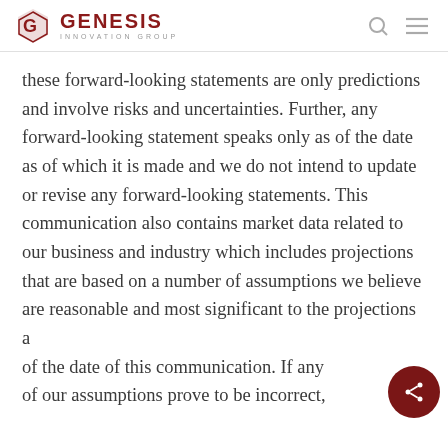GENESIS INNOVATION GROUP
these forward-looking statements are only predictions and involve risks and uncertainties. Further, any forward-looking statement speaks only as of the date as of which it is made and we do not intend to update or revise any forward-looking statements. This communication also contains market data related to our business and industry which includes projections that are based on a number of assumptions we believe are reasonable and most significant to the projections as of the date of this communication. If any of our assumptions prove to be incorrect,